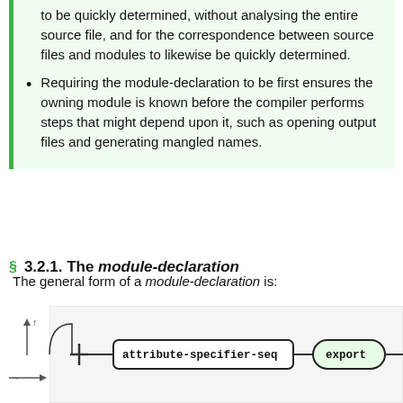to be quickly determined, without analysing the entire source file, and for the correspondence between source files and modules to likewise be quickly determined.
Requiring the module-declaration to be first ensures the owning module is known before the compiler performs steps that might depend upon it, such as opening output files and generating mangled names.
3.2.1. The module-declaration
The general form of a module-declaration is:
[Figure (engineering-diagram): Railroad/syntax diagram showing module-declaration grammar. Contains a node labeled 'attribute-specifier-seq' (rectangle with rounded corners) connected to a node labeled 'export' (stadium/pill shape) via arrows, with a loop-back arrow on the left side and a railroad start marker (H-bar).]